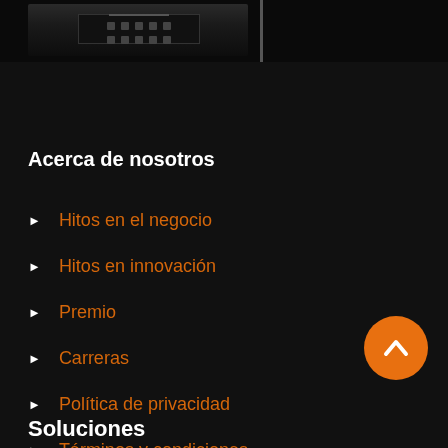[Figure (photo): Dark electronic device/hardware image with a vertical bar on the right side]
Acerca de nosotros
Hitos en el negocio
Hitos en innovación
Premio
Carreras
Política de privacidad
Términos y condiciones
Soluciones